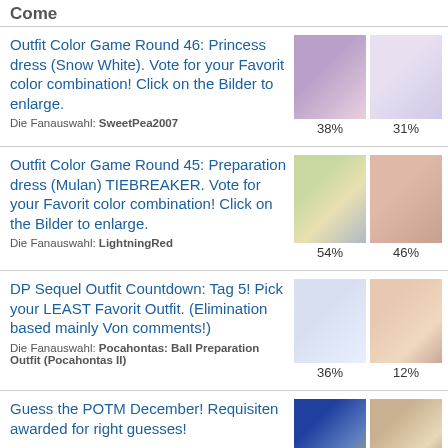Come
Outfit Color Game Round 46: Princess dress (Snow White). Vote for your Favorit color combination! Click on the Bilder to enlarge.
Die Fanauswahl: SweetPea2007
38% / 31%
Outfit Color Game Round 45: Preparation dress (Mulan) TIEBREAKER. Vote for your Favorit color combination! Click on the Bilder to enlarge.
Die Fanauswahl: LightningRed
54% / 46%
DP Sequel Outfit Countdown: Tag 5! Pick your LEAST Favorit Outfit. (Elimination based mainly Von comments!)
Die Fanauswahl: Pocahontas: Ball Preparation Outfit (Pocahontas II)
36% / 12%
Guess the POTM December! Requisiten awarded for right guesses!